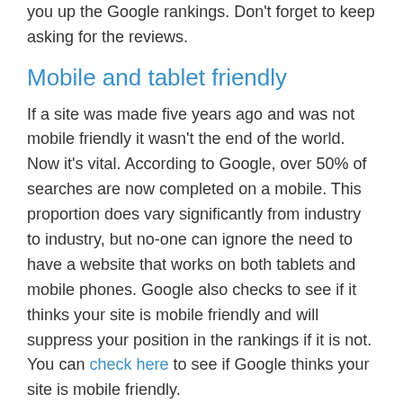you up the Google rankings. Don't forget to keep asking for the reviews.
Mobile and tablet friendly
If a site was made five years ago and was not mobile friendly it wasn't the end of the world. Now it's vital. According to Google, over 50% of searches are now completed on a mobile. This proportion does vary significantly from industry to industry, but no-one can ignore the need to have a website that works on both tablets and mobile phones. Google also checks to see if it thinks your site is mobile friendly and will suppress your position in the rankings if it is not. You can check here to see if Google thinks your site is mobile friendly.
The first thing I would do is visit your own website...